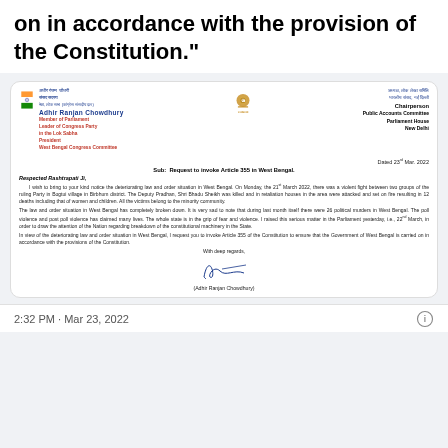on in accordance with the provision of the Constitution."
[Figure (other): Official letterhead of Adhir Ranjan Chowdhury, Member of Parliament, with Indian flag logo on left, Ashoka emblem in center, and Chairperson Public Accounts Committee designation on right. Letter dated 23rd Mar. 2022, Subject: Request to invoke Article 355 in West Bengal, addressed to Respected Rashtrapati Ji, discussing law and order situation in West Bengal, signed by Adhir Ranjan Chowdhury.]
2:32 PM · Mar 23, 2022